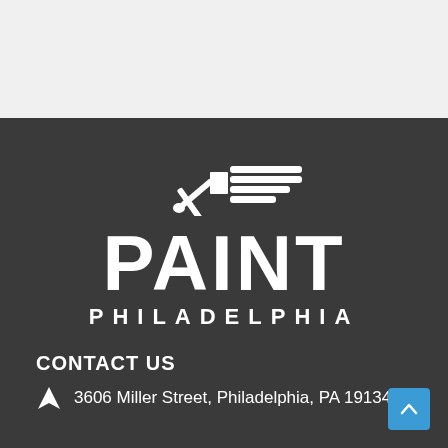[Figure (logo): Paint Philadelphia company logo with paint brush icon above the company name on dark background]
CONTACT US
3606 Miller Street, Philadelphia, PA 19134